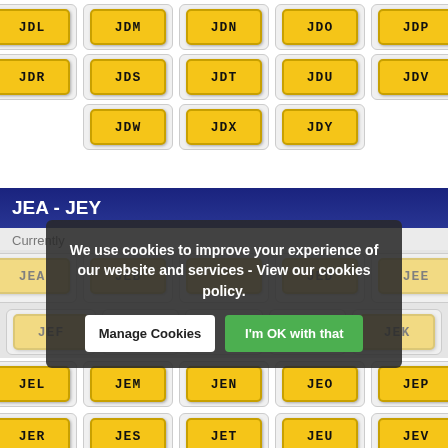[Figure (other): Row of UK vehicle registration plates partially visible at top: JDL, JDM, JDN, JDO, JDP (partially cut off)]
[Figure (other): Row of UK vehicle registration plates: JDR, JDS, JDT, JDU, JDV]
[Figure (other): Row of UK vehicle registration plates: JDW, JDX, JDY]
JEA - JEY
Currently
[Figure (other): Row of dimmed UK registration plates: JEA, JEB, JEC, JED, JEE]
[Figure (other): Row of dimmed UK registration plates: JEF, JEK (partial row, overlaid by cookie banner)]
[Figure (other): Row of UK registration plates: JEL, JEM, JEN, JEO, JEP]
[Figure (other): Row of UK registration plates: JER, JES, JET, JEU, JEV (partial, cut off at bottom)]
We use cookies to improve your experience of our website and services - View our cookies policy.
Manage Cookies
I'm OK with that